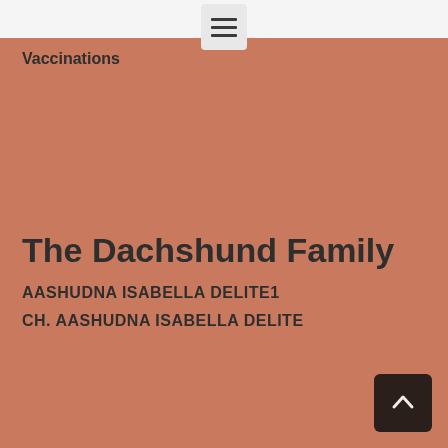Vaccinations
The Dachshund Family
AASHUDNA ISABELLA DELITE1
CH. AASHUDNA ISABELLA DELITE